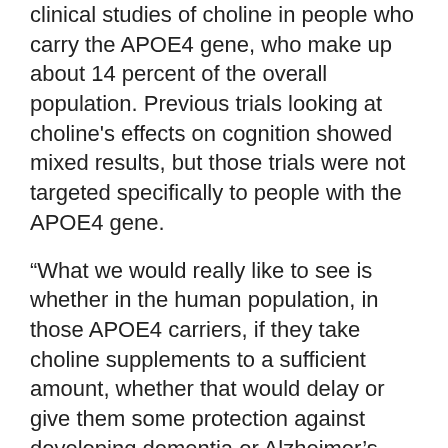clinical studies of choline in people who carry the APOE4 gene, who make up about 14 percent of the overall population. Previous trials looking at choline's effects on cognition showed mixed results, but those trials were not targeted specifically to people with the APOE4 gene.
“What we would really like to see is whether in the human population, in those APOE4 carriers, if they take choline supplements to a sufficient amount, whether that would delay or give them some protection against developing dementia or Alzheimer’s disease,” says Li-Huei Tsai, the director of MIT’s Picower Institute for Learning and Memory.
Tsai and the late Susan Lindquist, former director of MIT’s Whitehead Institute for Biomedical Research,